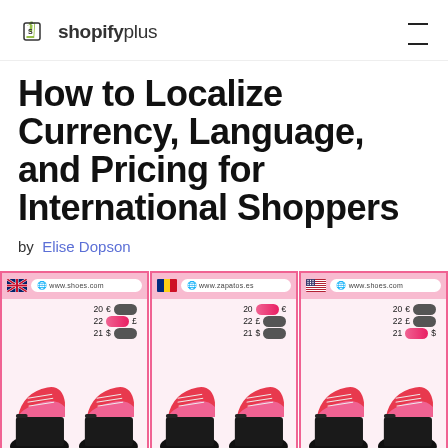shopifyplus
How to Localize Currency, Language, and Pricing for International Shoppers
by Elise Dopson
[Figure (illustration): Three browser panels side-by-side showing localized shoe store websites. Left panel: UK flag, www.shoes.com URL, prices 20€ 22£ 21$ with toggles, two red platform shoes. Middle panel: Romanian/Belgian flag, www.zapatos.es URL, prices 20€ 22£ 21$ with toggles, two red platform shoes. Right panel: US flag, www.shoes.com URL, prices 20€ 22£ 21$ with toggles, two red platform shoes.]